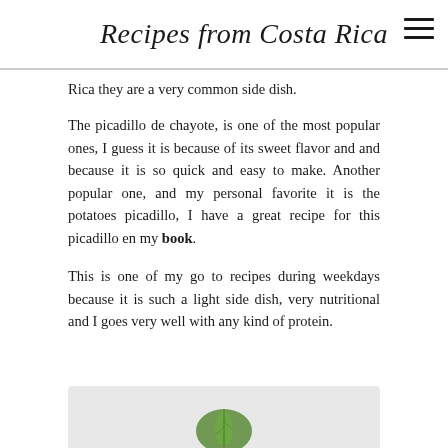Recipes from Costa Rica
Rica they are a very common side dish.
The picadillo de chayote, is one of the most popular ones, I guess it is because of its sweet flavor and and because it is so quick and easy to make. Another popular one, and my personal favorite it is the potatoes picadillo, I have a great recipe for this picadillo en my book.
This is one of my go to recipes during weekdays because it is such a light side dish, very nutritional and I goes very well with any kind of protein.
[Figure (photo): Bottom portion of a photo showing a green chayote vegetable on a light gray background]